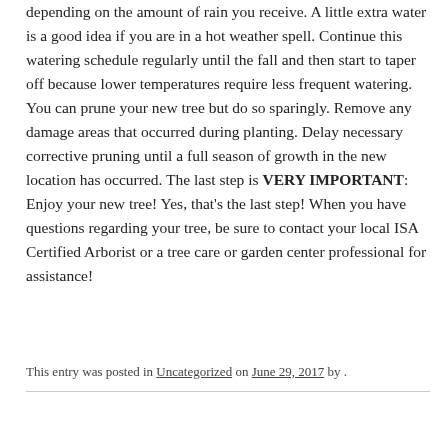depending on the amount of rain you receive. A little extra water is a good idea if you are in a hot weather spell. Continue this watering schedule regularly until the fall and then start to taper off because lower temperatures require less frequent watering.  You can prune your new tree but do so sparingly. Remove any damage areas that occurred during planting. Delay necessary corrective pruning until a full season of growth in the new location has occurred. The last step is VERY IMPORTANT: Enjoy your new tree! Yes, that's the last step! When you have questions regarding your tree, be sure to contact your local ISA Certified Arborist or a tree care or garden center professional for assistance!
This entry was posted in Uncategorized on June 29, 2017 by .